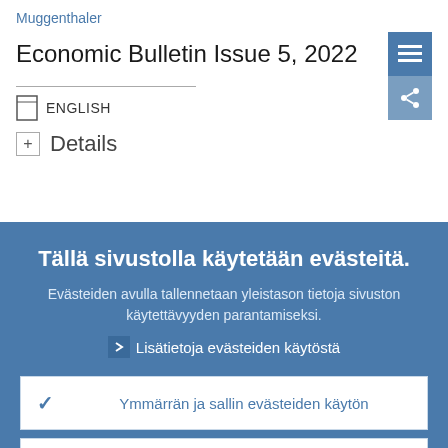Muggenthaler
Economic Bulletin Issue 5, 2022
ENGLISH
Details
Tällä sivustolla käytetään evästeitä.
Evästeiden avulla tallennetaan yleistason tietoja sivuston käytettävyyden parantamiseksi.
Lisätietoja evästeiden käytöstä
Ymmärrän ja sallin evästeiden käytön
En salli evästeiden käyttöä